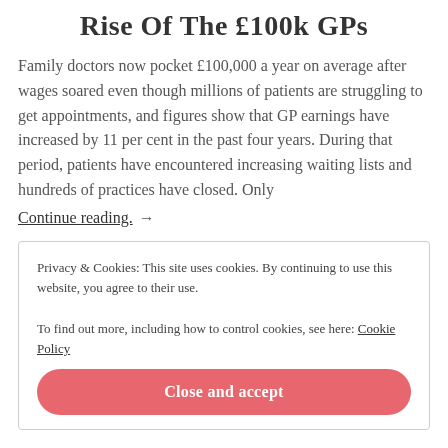Rise Of The £100k GPs
Family doctors now pocket £100,000 a year on average after wages soared even though millions of patients are struggling to get appointments, and figures show that GP earnings have increased by 11 per cent in the past four years. During that period, patients have encountered increasing waiting lists and hundreds of practices have closed. Only
Continue reading.  →
Privacy & Cookies: This site uses cookies. By continuing to use this website, you agree to their use.
To find out more, including how to control cookies, see here: Cookie Policy
Close and accept